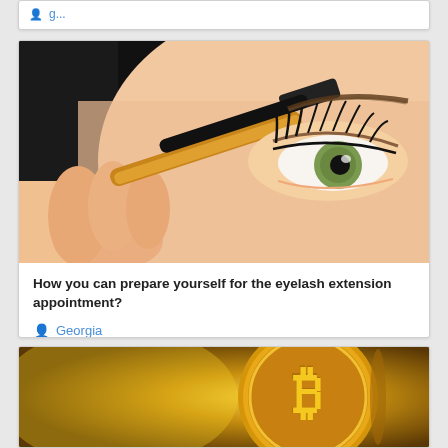[Figure (photo): Partial top card showing a person icon and blue link text]
[Figure (photo): Close-up photo of a woman applying mascara to her eyelashes with a mascara wand]
How you can prepare yourself for the eyelash extension appointment?
Georgia
[Figure (photo): Partially visible gold Bitcoin coin on dark golden background]